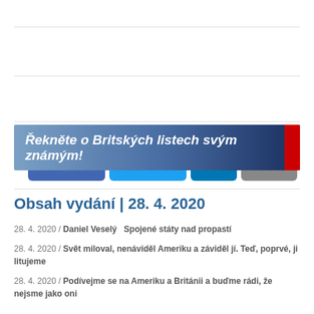[Figure (infographic): Social share buttons: Facebook (blue), Twitter (light blue), LinkedIn (dark blue), Email (grey)]
[Figure (infographic): Banner with text 'Řekněte o Britských listech svým známým!' on blue gradient background with red accent on right]
Obsah vydání | 28. 4. 2020
28. 4. 2020 / Daniel Veselý   Spojené státy nad propastí
28. 4. 2020 / Svět miloval, nenáviděl Ameriku a záviděl jí. Teď, poprvé, ji litujeme
28. 4. 2020 / Podívejme se na Ameriku a Británii a buďme rádi, že nejsme jako oni